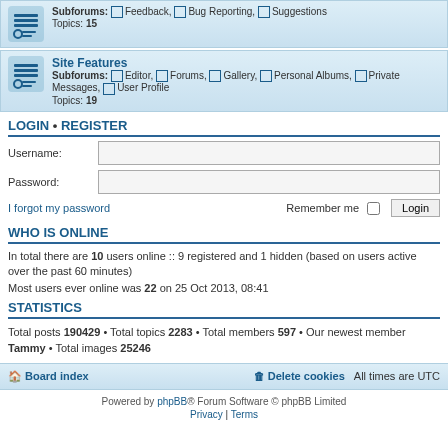Subforums: Feedback, Bug Reporting, Suggestions
Topics: 15
Site Features
Subforums: Editor, Forums, Gallery, Personal Albums, Private Messages, User Profile
Topics: 19
LOGIN • REGISTER
Username:
Password:
I forgot my password   Remember me  Login
WHO IS ONLINE
In total there are 10 users online :: 9 registered and 1 hidden (based on users active over the past 60 minutes)
Most users ever online was 22 on 25 Oct 2013, 08:41
STATISTICS
Total posts 190429 • Total topics 2283 • Total members 597 • Our newest member Tammy • Total images 25246
Board index   Delete cookies   All times are UTC
Powered by phpBB® Forum Software © phpBB Limited
Privacy | Terms